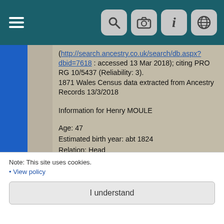Navigation bar with hamburger menu and icons for search, camera, info, globe
(http://search.ancestry.co.uk/search/db.aspx?dbid=7618 : accessed 13 Mar 2018); citing PRO RG 10/5437 (Reliability: 3).
1871 Wales Census data extracted from Ancestry Records 13/3/2018

Information for Henry MOULE

Age: 47
Estimated birth year: abt 1824
Relation: Head
Gender: Male
Where born: Georgeham, Devon, England
Civil Parish: Cadoxton
Ecclesiastical parish: Skewen
Town: Coedffrane
County/Island: Glamorgan
Country: Wales
Registration district: Neath
Sub-registration district: Cadoxton
Note: This site uses cookies.
• View policy
I understand